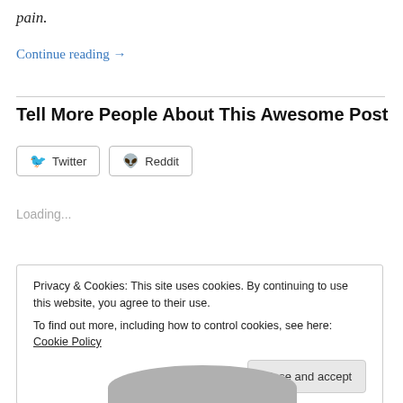pain.
Continue reading →
Tell More People About This Awesome Post
[Figure (other): Twitter and Reddit share buttons]
Loading...
Privacy & Cookies: This site uses cookies. By continuing to use this website, you agree to their use.
To find out more, including how to control cookies, see here: Cookie Policy
[Figure (photo): Partial face/head photo at bottom of page]